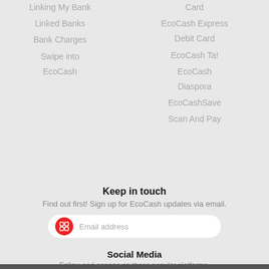Linking My Bank
Linked Banks
Bank Charges
Swipe into EcoCash
Card
EcoCash Express Debit Card
EcoCash Ta!
EcoCash Diaspora
EcoCashSave
Scan And Pay
Keep in touch
Find out first! Sign up for EcoCash updates via email.
Social Media
Follow and engage on these popular platforms.